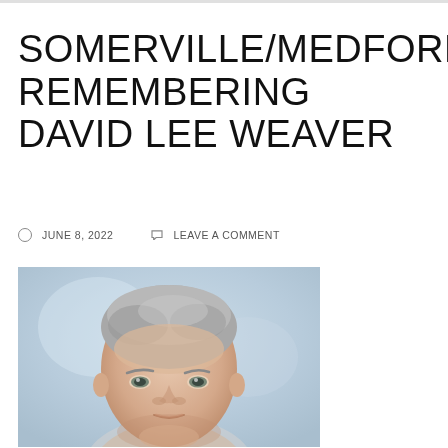SOMERVILLE/MEDFORD REMEMBERING DAVID LEE WEAVER
JUNE 8, 2022   LEAVE A COMMENT
[Figure (photo): Portrait photograph of David Lee Weaver, a middle-aged man with short gray hair, shown from the shoulders up against a light blue/gray background.]